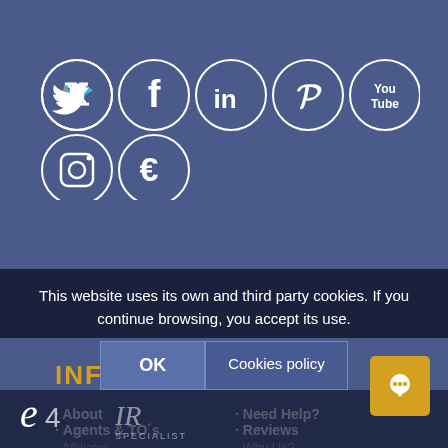[Figure (illustration): Social media icons in white circles on blue background: Twitter, Facebook, LinkedIn, Pinterest, YouTube (top row); Instagram, and a custom 'E' branded icon (second row)]
INFO
About
Agents & TO´s
Affiliates
Suppliers
Contact Us
Need Help?
Reviews
Why Us?
Bloggers
Blog
This website uses its own and third party cookies. If you continue browsing, you accept its use.
OK  Cookies policy